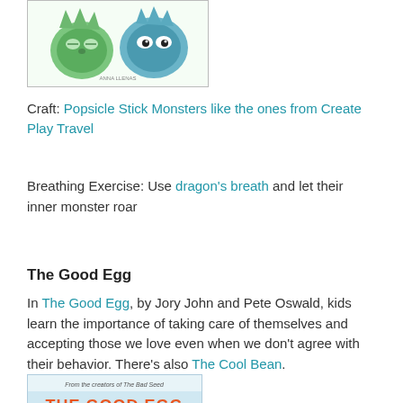[Figure (illustration): Book cover showing two illustrated monsters - a green one and a blue one - in a crayon/colored pencil style]
Craft: Popsicle Stick Monsters like the ones from Create Play Travel
Breathing Exercise: Use dragon's breath and let their inner monster roar
The Good Egg
In The Good Egg, by Jory John and Pete Oswald, kids learn the importance of taking care of themselves and accepting those we love even when we don't agree with their behavior. There's also The Cool Bean.
[Figure (illustration): Book cover of The Good Egg - shows orange/red title text on light blue/white background with tagline 'From the creators of The Bad Seed']